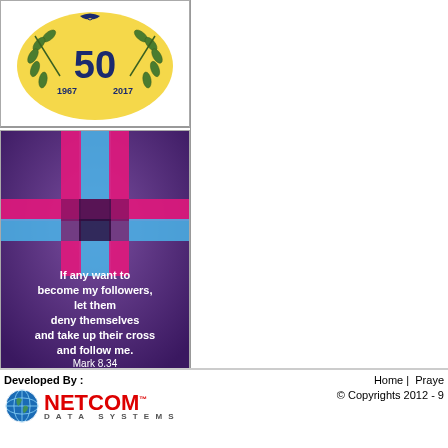[Figure (logo): Anniversary badge/seal with '50' and years 1967-2017, olive branches, circular emblem on yellow/gold background]
[Figure (illustration): Purple background with pink and blue cross stripes forming a cross shape. Text reads: 'If any want to become my followers, let them deny themselves and take up their cross and follow me. Mark 8.34']
Developed By : | Home | Praye... | © Copyrights 2012 - ...